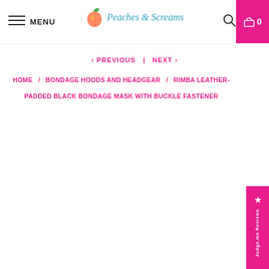MENU | Peaches & Screams | Search | Cart 0
< PREVIOUS | NEXT >
HOME / BONDAGE HOODS AND HEADGEAR / RIMBA LEATHER-PADDED BLACK BONDAGE MASK WITH BUCKLE FASTENER
[Figure (other): Judge.me Reviews side badge in pink]